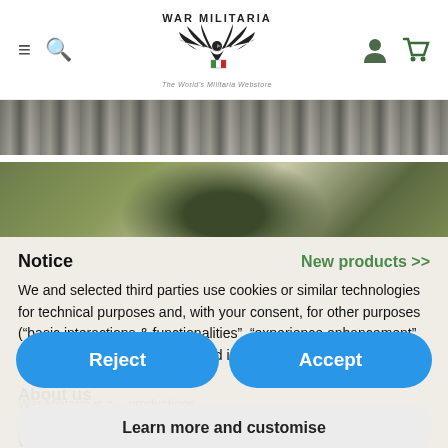WAR MILITARIA
[Figure (photo): Camouflage pattern image strip at top]
[Figure (photo): Military helmet photo]
Notice
New products >>
We and selected third parties use cookies or similar technologies for technical purposes and, with your consent, for other purposes (“basic interactions & functionalities”, “experience enhancement” and “measurement”) as specified in the cookie policy.
Reject
Accept
Learn more and customise
About us
War Militaria is a... productions, specialized in articles about the First and Second World War. Our...